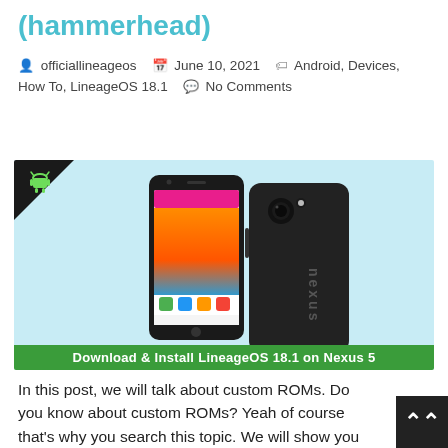(hammerhead)
officiallineageos   June 10, 2021   Android, Devices, How To, LineageOS 18.1   No Comments
[Figure (photo): Two Nexus 5 smartphones shown front and back on a light blue background, with a LineageOS logo in the top-left corner. A green banner at the bottom reads: Download & Install LineageOS 18.1 on Nexus 5]
In this post, we will talk about custom ROMs. Do you know about custom ROMs? Yeah of course that's why you search this topic. We will show you how …